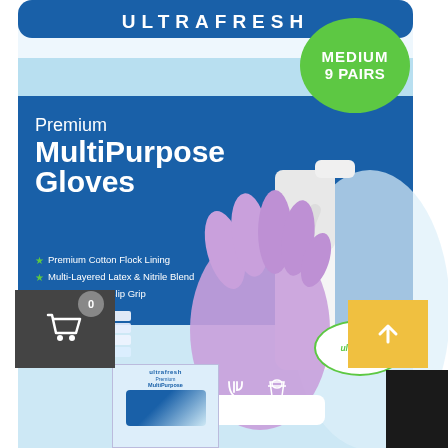[Figure (photo): Product photo of a package of Premium MultiPurpose Gloves, Medium 9 Pairs, by Ultrafresh. The bag is white and blue with a purple latex glove holding a white spray bottle. Features listed: Premium Cotton Flock Lining, Multi-Layered Latex & Nitrile Blend, Diamond Non-Slip Grip. 4 Protective Layers for Durability and Comfort. Icons for Bathroom, Kitchen, Cleaning. A shopping cart UI element and an up-arrow button are overlaid. A small product thumbnail and dark bar appear at the bottom.]